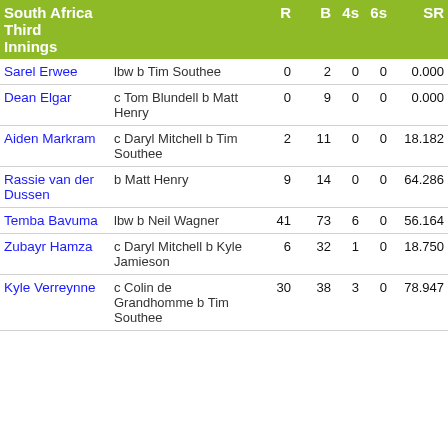| South Africa Third Innings |  | R | B | 4s | 6s | SR |
| --- | --- | --- | --- | --- | --- | --- |
| Sarel Erwee | lbw b Tim Southee | 0 | 2 | 0 | 0 | 0.000 |
| Dean Elgar | c Tom Blundell b Matt Henry | 0 | 9 | 0 | 0 | 0.000 |
| Aiden Markram | c Daryl Mitchell b Tim Southee | 2 | 11 | 0 | 0 | 18.182 |
| Rassie van der Dussen | b Matt Henry | 9 | 14 | 0 | 0 | 64.286 |
| Temba Bavuma | lbw b Neil Wagner | 41 | 73 | 6 | 0 | 56.164 |
| Zubayr Hamza | c Daryl Mitchell b Kyle Jamieson | 6 | 32 | 1 | 0 | 18.750 |
| Kyle Verreynne | c Colin de Grandhomme b Tim Southee | 30 | 38 | 3 | 0 | 78.947 |